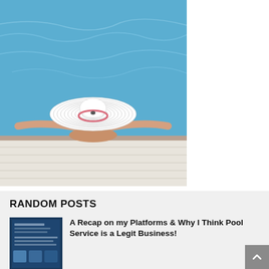[Figure (photo): A person relaxing at the edge of a swimming pool, arms outstretched, wearing a large white wide-brim sun hat. The background shows bright blue pool water. The person is resting on a white wooden deck.]
RANDOM POSTS
[Figure (photo): Thumbnail image for blog post about Pool Service platforms, showing dark blue background with text and small images.]
A Recap on my Platforms & Why I Think Pool Service is a Legit Business!